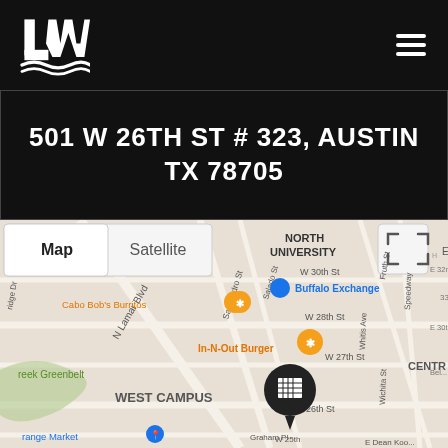LW logo and hamburger menu
501 W 26TH ST # 323, AUSTIN TX 78705
[Figure (map): Google Maps screenshot showing West Campus area of Austin TX near 501 W 26th St #323. Visible landmarks include Cabo Bob's Burritos, Buffalo Exchange, In-N-Out Burger, North University neighborhood, and a building pin marker.]